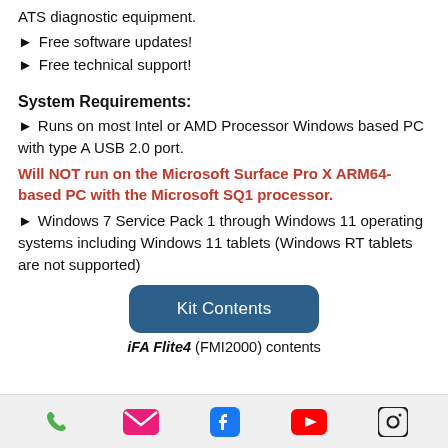ATS diagnostic equipment.
Free software updates!
Free technical support!
System Requirements:
Runs on most Intel or AMD Processor Windows based PC with type A USB 2.0 port. Will NOT run on the Microsoft Surface Pro X ARM64-based PC with the Microsoft SQ1 processor.
Windows 7 Service Pack 1 through Windows 11 operating systems including Windows 11 tablets (Windows RT tablets are not supported)
Kit Contents
iFA Flite4 (FMI2000) contents